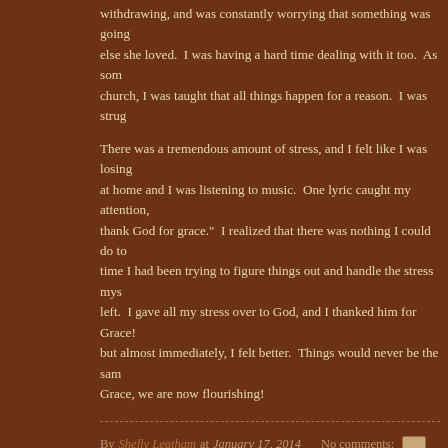withdrawing, and was constantly worrying that something was going else she loved.  I was having a hard time dealing with it too.  As som church, I was taught that all things happen for a reason.  I was strug
There was a tremendous amount of stress, and I felt like I was losing at home and I was listening to music.  One lyric caught my attention, thank God for grace."  I realized that there was nothing I could do to time I had been trying to figure things out and handle the stress mys left.  I gave all my stress over to God, and I thanked him for Grace! but almost immediately, I felt better.  Things would never be the sam Grace, we are now flourishing!
By Shelly Leatham at January 17, 2014   No comments:
Labels: day 15, stress, The Blog Dare
Wednesday, January 15, 2014
Learning Made Fun with the Tick Matching Game